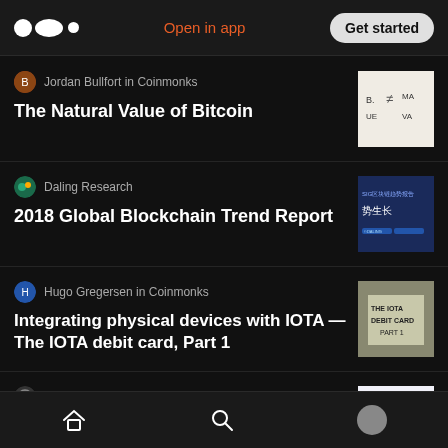Medium app header — Open in app | Get started
Jordan Bullfort in Coinmonks
The Natural Value of Bitcoin
Daling Research
2018 Global Blockchain Trend Report
Hugo Gregersen in Coinmonks
Integrating physical devices with IOTA — The IOTA debit card, Part 1
Arts & Crypto in Arts & Crypto
What is a DAO?
Bottom navigation: Home, Search, Profile